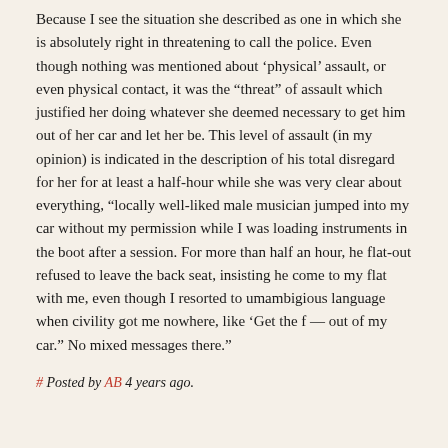Because I see the situation she described as one in which she is absolutely right in threatening to call the police. Even though nothing was mentioned about ‘physical’ assault, or even physical contact, it was the “threat” of assault which justified her doing whatever she deemed necessary to get him out of her car and let her be. This level of assault (in my opinion) is indicated in the description of his total disregard for her for at least a half-hour while she was very clear about everything, “locally well-liked male musician jumped into my car without my permission while I was loading instruments in the boot after a session. For more than half an hour, he flat-out refused to leave the back seat, insisting he come to my flat with me, even though I resorted to umambigious language when civility got me nowhere, like ‘Get the f — out of my car.” No mixed messages there.”
# Posted by AB 4 years ago.